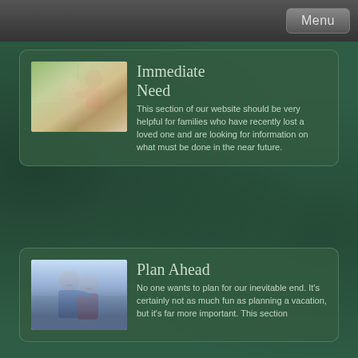Menu
Immediate Need
[Figure (photo): An elderly woman being comforted by a younger woman placing her hand on her shoulder]
This section of our website should be very helpful for families who have recently lost a loved one and are looking for information on what must be done in the near future.
Plan Ahead
[Figure (photo): An elderly couple smiling and embracing each other]
No one wants to plan for our inevitable end. It's certainly not as much fun as planning a vacation, but it's far more important. This section